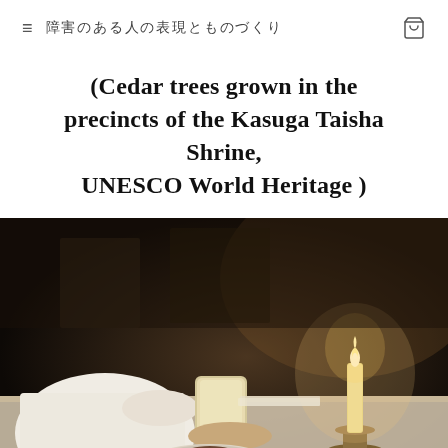≡ 障害のある人の表現とものづくり 🛍
(Cedar trees grown in the precincts of the Kasuga Taisha Shrine, UNESCO World Heritage )
[Figure (photo): A person in a white sweater holding a glass candle jar at a table. A lit pillar candle on a brass candlestick holder is visible on the right. Dark ambient background. A plate with pastry is on the table.]